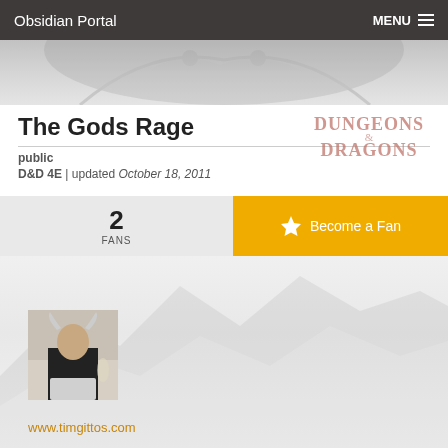Obsidian Portal   MENU
[Figure (photo): Banner image with faint dragon/fantasy watermark on grey gradient background]
The Gods Rage
public
D&D 4E | updated October 18, 2011
[Figure (logo): Dungeons & Dragons logo in faded red/bronze tones]
2
FANS
Become a Fan
[Figure (photo): Person wearing viking helmet sitting at computer, black t-shirt, square profile photo]
www.timgittos.com